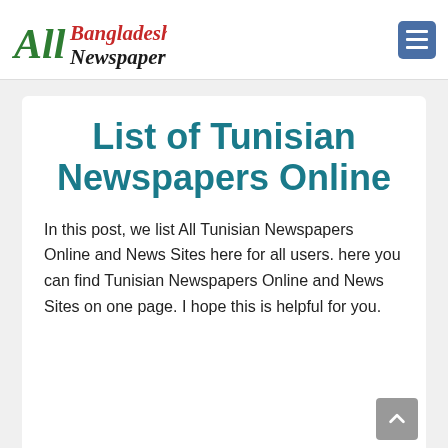[Figure (logo): All Bangladesh Newspaper logo with stylized text: 'All' in green italic serif, 'Bangladesh' in red italic serif, 'Newspaper' in black italic serif]
List of Tunisian Newspapers Online
In this post, we list All Tunisian Newspapers Online and News Sites here for all users. here you can find Tunisian Newspapers Online and News Sites on one page. I hope this is helpful for you.